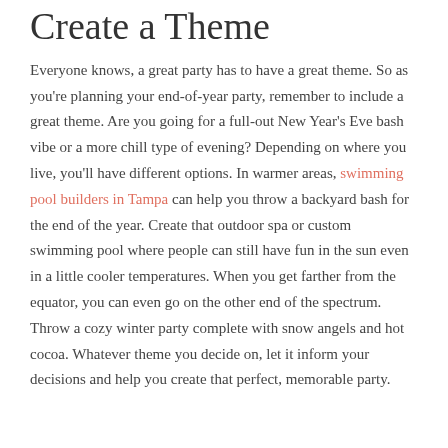Create a Theme
Everyone knows, a great party has to have a great theme. So as you're planning your end-of-year party, remember to include a great theme. Are you going for a full-out New Year's Eve bash vibe or a more chill type of evening? Depending on where you live, you'll have different options. In warmer areas, swimming pool builders in Tampa can help you throw a backyard bash for the end of the year. Create that outdoor spa or custom swimming pool where people can still have fun in the sun even in a little cooler temperatures. When you get farther from the equator, you can even go on the other end of the spectrum. Throw a cozy winter party complete with snow angels and hot cocoa. Whatever theme you decide on, let it inform your decisions and help you create that perfect, memorable party.